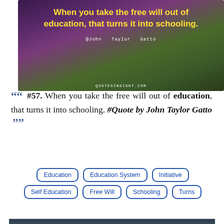[Figure (photo): Purple flower with dark blurred background, overlaid with yellow quote text and white attribution text. Quote: 'When you take the free will out of education, that turns it into schooling.' Attribution: @John Taylor Gatto. Website: QUOTESINSIGHT.COM]
““ #57. When you take the free will out of education, that turns it into schooling. #Quote by John Taylor Gatto ””
Education
Education System
Initiative
Self Education
Free Will
Schooling
Turns
[Figure (photo): Partial view of a dark cloudy sky photo at the bottom of the page]